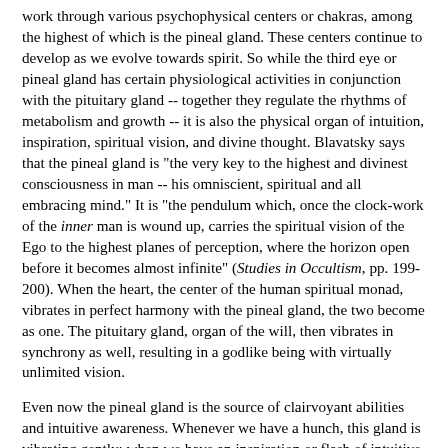work through various psychophysical centers or chakras, among the highest of which is the pineal gland. These centers continue to develop as we evolve towards spirit. So while the third eye or pineal gland has certain physiological activities in conjunction with the pituitary gland -- together they regulate the rhythms of metabolism and growth -- it is also the physical organ of intuition, inspiration, spiritual vision, and divine thought. Blavatsky says that the pineal gland is "the very key to the highest and divinest consciousness in man -- his omniscient, spiritual and all embracing mind." It is "the pendulum which, once the clock-work of the inner man is wound up, carries the spiritual vision of the Ego to the highest planes of perception, where the horizon open before it becomes almost infinite" (Studies in Occultism, pp. 199-200). When the heart, the center of the human spiritual monad, vibrates in perfect harmony with the pineal gland, the two become as one. The pituitary gland, organ of the will, then vibrates in synchrony as well, resulting in a godlike being with virtually unlimited vision.
Even now the pineal gland is the source of clairvoyant abilities and intuitive awareness. Whenever we have a hunch, this gland is vibrating gently; when we have an inspiration or flash of intuitive understanding, it vibrates more strongly, though still gently. Nonetheless, "it has very hard going, mainly due to the work of the two eyes which overcame it. As time passes the two eyes will grow slowly more perfect in function, but will recede in importance; and